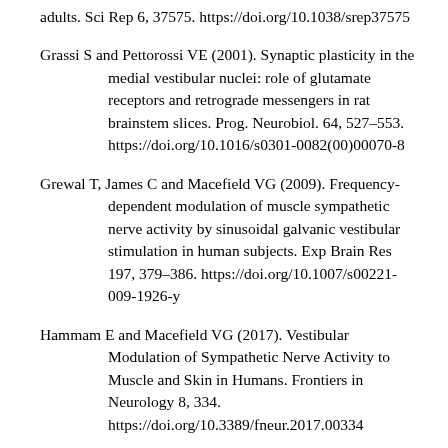adults. Sci Rep 6, 37575. https://doi.org/10.1038/srep37575
Grassi S and Pettorossi VE (2001). Synaptic plasticity in the medial vestibular nuclei: role of glutamate receptors and retrograde messengers in rat brainstem slices. Prog. Neurobiol. 64, 527–553. https://doi.org/10.1016/s0301-0082(00)00070-8
Grewal T, James C and Macefield VG (2009). Frequency-dependent modulation of muscle sympathetic nerve activity by sinusoidal galvanic vestibular stimulation in human subjects. Exp Brain Res 197, 379–386. https://doi.org/10.1007/s00221-009-1926-y
Hammam E and Macefield VG (2017). Vestibular Modulation of Sympathetic Nerve Activity to Muscle and Skin in Humans. Frontiers in Neurology 8, 334. https://doi.org/10.3389/fneur.2017.00334
Hassan FM, Elaziz AA, Obaya HE et al. (2021). The